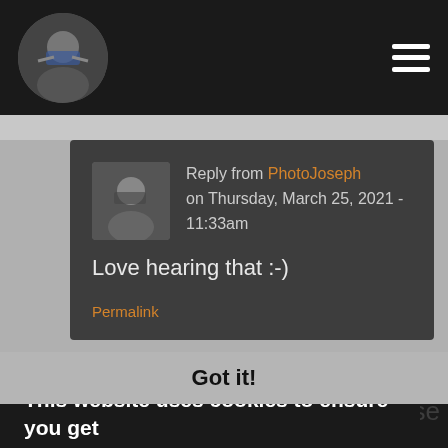PhotoJoseph (nav bar with avatar and menu icon)
Reply from PhotoJoseph on Thursday, March 25, 2021 - 11:33am
Love hearing that :-)
Permalink
This website uses cookies to ensure you get the best experience on our website.
Learn more
use
Got it!
think it needs a BNC 3,5 jack. The other things is if |